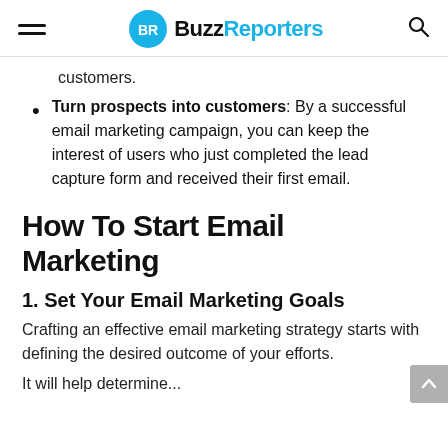BuzzReporters
customers.
Turn prospects into customers: By a successful email marketing campaign, you can keep the interest of users who just completed the lead capture form and received their first email.
How To Start Email Marketing
1. Set Your Email Marketing Goals
Crafting an effective email marketing strategy starts with defining the desired outcome of your efforts.
It will help determine...